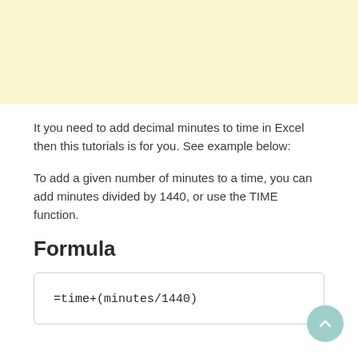[Figure (other): Yellow/cream colored banner at the top of the page]
It you need to add decimal minutes to time in Excel then this tutorials is for you. See example below:
To add a given number of minutes to a time, you can add minutes divided by 1440, or use the TIME function.
Formula